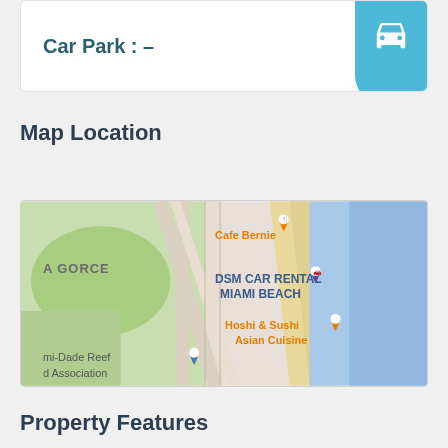Car Park : –
Map Location
[Figure (map): Google Maps view showing DSM CAR RENTAL MIAMI BEACH location, with nearby landmarks including Cafe Bernie, Hoshi & Sushi Asian Cuisine, and Miami-Dade Reef Association. Shows La Gorce area with green spaces and blue water (ocean) to the right.]
Property Features